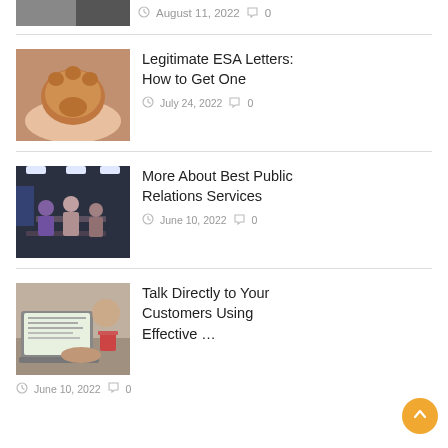[Figure (photo): Partial view of a thumbnail image at the top of the page]
August 11, 2022  0
[Figure (photo): A cat paw resting on a human hand]
Legitimate ESA Letters: How to Get One
July 24, 2022  0
[Figure (photo): People gathered around tables in an office/meeting room setting]
More About Best Public Relations Services
June 10, 2022  0
[Figure (photo): Person working on a laptop at a desk with a coffee cup]
Talk Directly to Your Customers Using Effective …
June 10, 2022  0